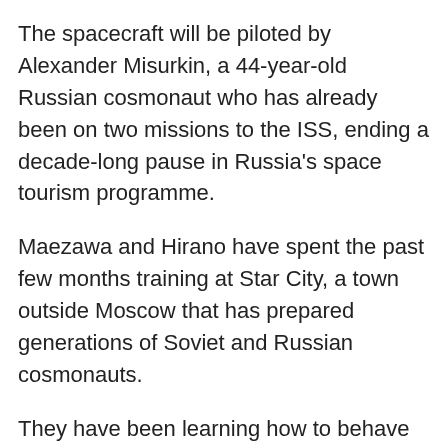The spacecraft will be piloted by Alexander Misurkin, a 44-year-old Russian cosmonaut who has already been on two missions to the ISS, ending a decade-long pause in Russia's space tourism programme.
Maezawa and Hirano have spent the past few months training at Star City, a town outside Moscow that has prepared generations of Soviet and Russian cosmonauts.
They have been learning how to behave in zero-gravity and specific protocols in the event of an emergency.
Maezawa said that training in the spinning